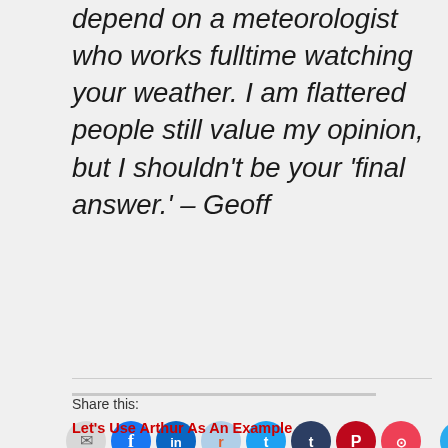depend on a meteorologist who works fulltime watching your weather. I am flattered people still value my opinion, but I shouldn't be your 'final answer.' – Geoff
Share this:
[Figure (infographic): Row of social media share button icons: email (grey), Facebook (blue), LinkedIn (blue), Reddit (light blue), Twitter (cyan), Tumblr (dark navy), Pinterest (red), Pocket (red), Telegram (teal), WhatsApp (green)]
Let's Use Arthur As An Example